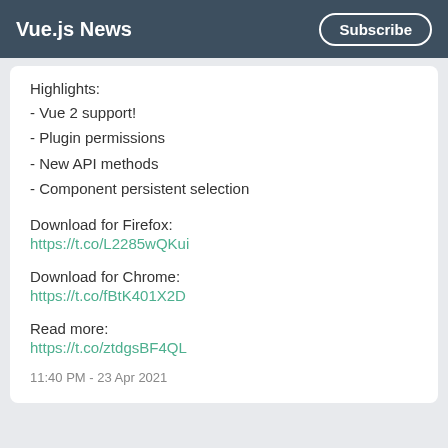Vue.js News | Subscribe
Highlights:
- Vue 2 support!
- Plugin permissions
- New API methods
- Component persistent selection
Download for Firefox:
https://t.co/L2285wQKui
Download for Chrome:
https://t.co/fBtK401X2D
Read more:
https://t.co/ztdgsBF4QL
11:40 PM - 23 Apr 2021